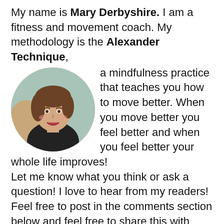My name is Mary Derbyshire. I am a fitness and movement coach. My methodology is the Alexander Technique, a mindfulness practice that teaches you how to move better. When you move better you feel better and when you feel better your whole life improves! Let me know what you think or ask a question! I love to hear from my readers! Feel free to post in the comments section below and feel free to share this with your friends!
[Figure (photo): Circular portrait photo of Mary Derbyshire, a woman with short brown hair, smiling, wearing a black top, with a light teal/mint background.]
You can learn more about the Alexander...